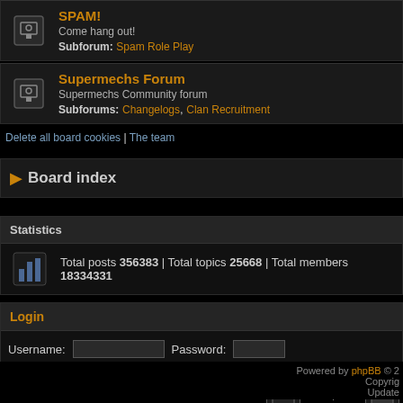SPAM!
Come hang out!
Subforum: Spam Role Play
Supermechs Forum
Supermechs Community forum
Subforums: Changelogs, Clan Recruitment
Delete all board cookies | The team
Board index
Statistics
Total posts 356383 | Total topics 25668 | Total members 18334331
Login
Username:   Password:
New posts
Powered by phpBB © 2  Copyright  Update